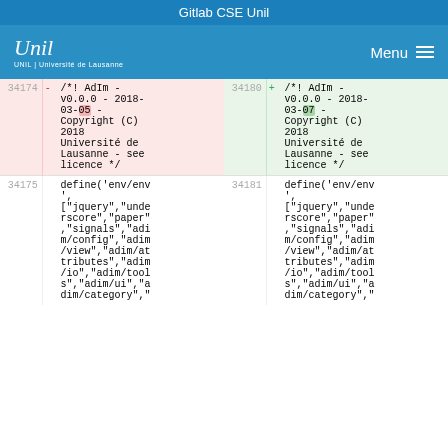Gitlab CSE Unil
[Figure (screenshot): Navigation bar with Unil logo on left and Menu button with hamburger icon on right, blue background]
| line-old | marker | code-old | line-new | marker | code-new |
| --- | --- | --- | --- | --- | --- |
| 34174 | - | /*! AdIm - v0.0.0 - 2018-03-05 - Copyright (C) 2018 Université de Lausanne - see licence */ | 34180 | + | /*! AdIm - v0.0.0 - 2018-03-07 - Copyright (C) 2018 Université de Lausanne - see licence */ |
| 34175 |  | define('env/env', ["jquery","underscore","paper","signals","adim/config","adim/view","adim/attributes","adim/io","adim/tools","adim/ui","adim/category"," | 34181 |  | define('env/env', ["jquery","underscore","paper","signals","adim/config","adim/view","adim/attributes","adim/io","adim/tools","adim/ui","adim/category"," |